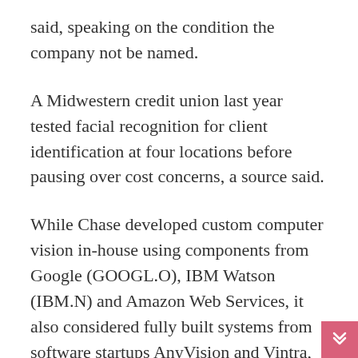said, speaking on the condition the company not be named.
A Midwestern credit union last year tested facial recognition for client identification at four locations before pausing over cost concerns, a source said.
While Chase developed custom computer vision in-house using components from Google (GOOGL.O), IBM Watson (IBM.N) and Amazon Web Services, it also considered fully built systems from software startups AnyVision and Vintra, people including Bhandar said. AnyVision declined to comment, and Vintra did not